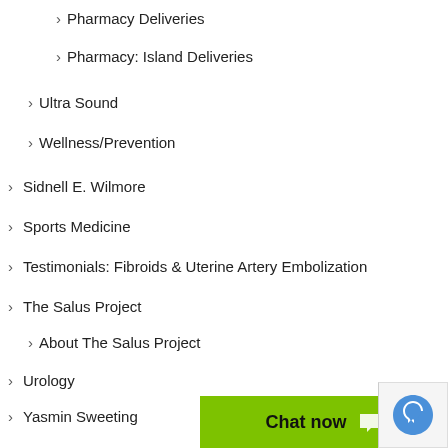Pharmacy Deliveries
Pharmacy: Island Deliveries
Ultra Sound
Wellness/Prevention
Sidnell E. Wilmore
Sports Medicine
Testimonials: Fibroids & Uterine Artery Embolization
The Salus Project
About The Salus Project
Urology
Yasmin Sweeting
Features